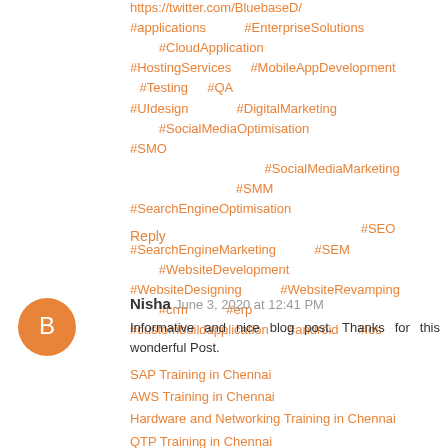https://twitter.com/BluebaseD/
#applications #EnterpriseSolutions #CloudApplication #HostingServices #MobileAppDevelopment #Testing #QA #UIdesign #DigitalMarketing #SocialMediaOptimisation #SMO #SocialMediaMarketing #SMM #SearchEngineOptimisation #SEO #SearchEngineMarketing #SEM #WebsiteDevelopment #WebsiteDesigning #WebsiteRevamping #crm #erp #custombuildapplication #android #ios
Reply
Nisha June 3, 2020 at 12:41 PM
Informative and nice blog post. Thanks for this wonderful Post.
SAP Training in Chennai
AWS Training in Chennai
Hardware and Networking Training in Chennai
QTP Training in Chennai
CCNA Training in Chennai
Reply